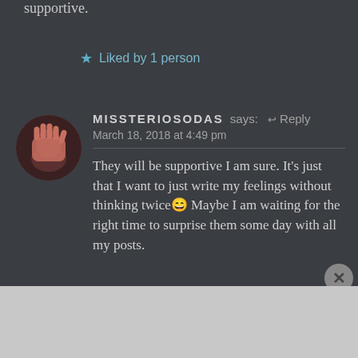supportive.
★ Liked by 1 person
MISSTERIOSODAS says: ↩ Reply
March 18, 2018 at 4:49 pm
They will be supportive I am sure. It's just that I want to just write my feelings without thinking twice😄 Maybe I am waiting for the right time to surprise them some day with all my posts.
Advertisements
[Figure (screenshot): DuckDuckGo advertisement banner: 'Search, browse, and email with more privacy. All in One Free App' on orange background with DuckDuckGo logo on dark right panel]